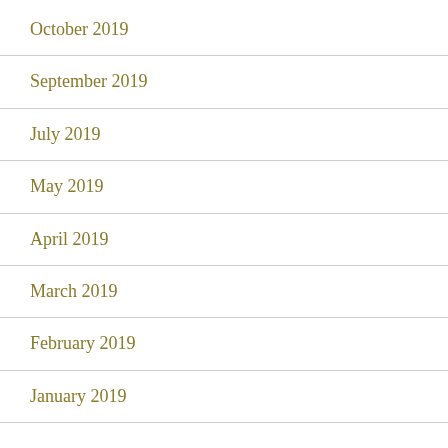October 2019
September 2019
July 2019
May 2019
April 2019
March 2019
February 2019
January 2019